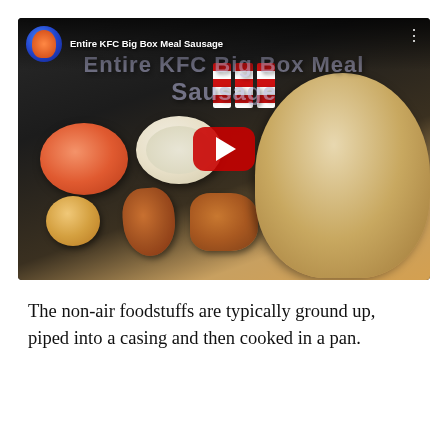[Figure (screenshot): YouTube video thumbnail/embed showing a KFC Big Box Meal with Sausage. The video shows food items including fried chicken pieces, a biscuit, a bowl of orange dipping sauce, a bowl of coleslaw, and a large sausage in a bread roll on the right side. The video title reads 'Entire KFC Big Box Meal Sausage' with a red YouTube play button in the center.]
The non-air foodstuffs are typically ground up, piped into a casing and then cooked in a pan.